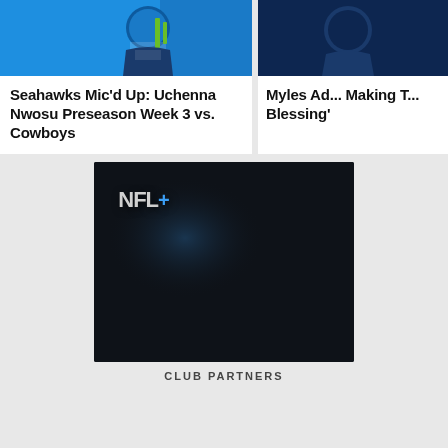[Figure (photo): Photo of Seattle Seahawks player with blue background for article about Uchenna Nwosu mic'd up]
Seahawks Mic'd Up: Uchenna Nwosu Preseason Week 3 vs. Cowboys
[Figure (photo): Partial photo of Myles Adams with dark blue background]
Myles Ad... Making T... Blessing'
[Figure (infographic): NFL+ advertisement with Seahawks logo. Text: YOUR SEAHAWKS. ON THE GO. PLUS.NFL.COM START 7-DAY FREE TRIAL TERMS AND CONDITIONS APPLY]
CLUB PARTNERS